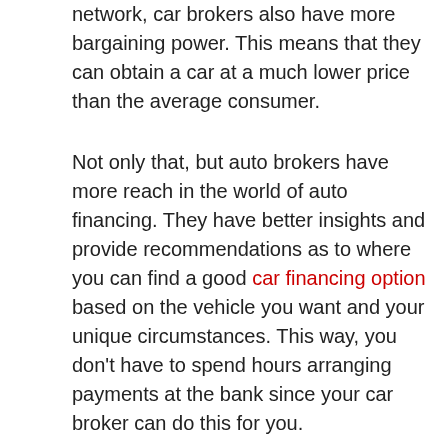network, car brokers also have more bargaining power. This means that they can obtain a car at a much lower price than the average consumer.
Not only that, but auto brokers have more reach in the world of auto financing. They have better insights and provide recommendations as to where you can find a good car financing option based on the vehicle you want and your unique circumstances. This way, you don't have to spend hours arranging payments at the bank since your car broker can do this for you.
2. Finding The Perfect Car
If you already have an idea of what your dream car is, then you can simply purchase it on your own. However, if you're still unsure of what's the best car